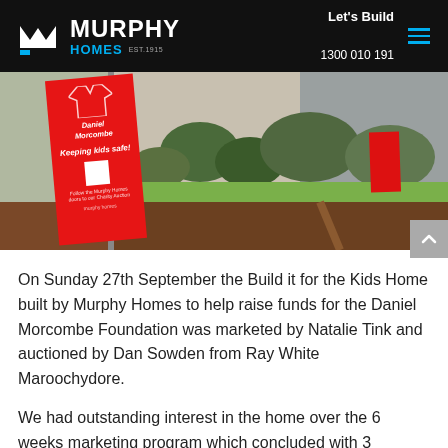Murphy Homes — Let's Build 1300 010 191
[Figure (photo): Outdoor photo showing a red promotional sign reading 'Daniel Morcombe – Keeping kids safe!' with a QR code, placed in a garden bed with mulch, grass, and shrubs in front of a house. A second red sign is visible in the background.]
On Sunday 27th September the Build it for the Kids Home built by Murphy Homes to help raise funds for the Daniel Morcombe Foundation was marketed by Natalie Tink and auctioned by Dan Sowden from Ray White Maroochydore.
We had outstanding interest in the home over the 6 weeks marketing program which concluded with 3